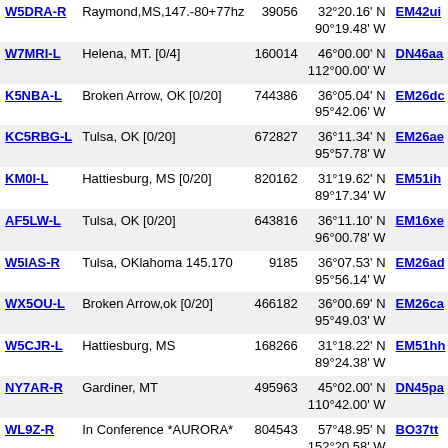| Callsign | Location | Node ID | Coordinates | Grid |  |
| --- | --- | --- | --- | --- | --- |
| W5DRA-R | Raymond,MS,147.-80+77hz | 39056 | 32°20.16' N
90°19.48' W | EM42ui | 4 |
| W7MRI-L | Helena, MT. [0/4] | 160014 | 46°00.00' N
112°00.00' W | DN46aa | 4 |
| K5NBA-L | Broken Arrow, OK [0/20] | 744386 | 36°05.04' N
95°42.06' W | EM26dc | 4 |
| KC5RBG-L | Tulsa, OK [0/20] | 672827 | 36°11.34' N
95°57.78' W | EM26ae | 4 |
| KM0I-L | Hattiesburg, MS [0/20] | 820162 | 31°19.62' N
89°17.34' W | EM51ih | 4 |
| AF5LW-L | Tulsa, OK [0/20] | 643816 | 36°11.10' N
96°00.78' W | EM16xe | 4 |
| W5IAS-R | Tulsa, OKlahoma 145.170 | 9185 | 36°07.53' N
95°56.14' W | EM26ad | 4 |
| WX5OU-L | Broken Arrow,ok [0/20] | 466182 | 36°00.69' N
95°49.03' W | EM26ca | 4 |
| W5CJR-L | Hattiesburg, MS | 168266 | 31°18.22' N
89°24.38' W | EM51hh | 4 |
| NY7AR-R | Gardiner, MT | 495963 | 45°02.00' N
110°42.00' W | DN45pa | 4 |
| WL9Z-R | In Conference *AURORA* | 804543 | 57°48.95' N
152°20.58' W | BO37tt | 4 |
| K5IJX-R | Hattiesburg, MS | 778348 | 31°16.28' N
89°26.18' W | EM51gg | 4 |
| N7ALR-R | American Legion Radio [0/10 | 247941 | 48°07.68' N
117°11.94' W | DN18jd | 4 |